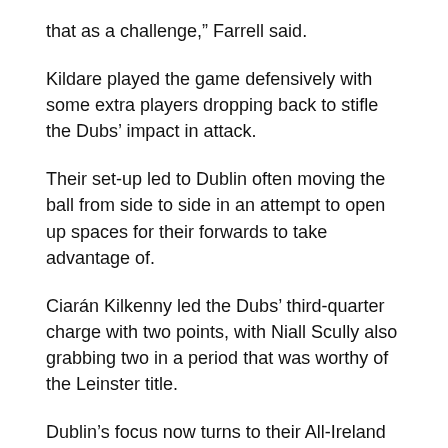that as a challenge,” Farrell said.
Kildare played the game defensively with some extra players dropping back to stifle the Dubs’ impact in attack.
Their set-up led to Dublin often moving the ball from side to side in an attempt to open up spaces for their forwards to take advantage of.
Ciarán Kilkenny led the Dubs’ third-quarter charge with two points, with Niall Scully also grabbing two in a period that was worthy of the Leinster title.
Dublin’s focus now turns to their All-Ireland semi-final showdown with Connacht champions Mayo, in a repeat of last year’s All-Ireland final.